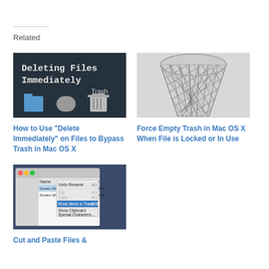Related
[Figure (screenshot): Screenshot showing 'Deleting Files Immediately' text overlay on Mac OS X desktop with Trash icon visible]
How to Use "Delete Immediately" on Files to Bypass Trash in Mac OS X
[Figure (photo): Close-up photo of a metallic mesh/lattice cylindrical structure (possibly a Mac Pro trash can shape)]
Force Empty Trash in Mac OS X When File is Locked or In Use
[Figure (screenshot): Screenshot of Mac OS X Finder with a context menu open showing Edit menu options including Move Items to Trash and other options]
Cut and Paste Files &